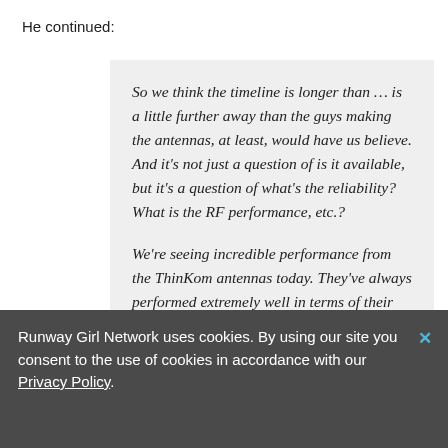He continued:
So we think the timeline is longer than ... is a little further away than the guys making the antennas, at least, would have us believe. And it's not just a question of is it available, but it's a question of what's the reliability? What is the RF performance, etc.?

We're seeing incredible performance from the ThinKom antennas today. They've always performed extremely well in terms of their RF performance. But now their on-wing reliability
Runway Girl Network uses cookies. By using our site you consent to the use of cookies in accordance with our Privacy Policy.